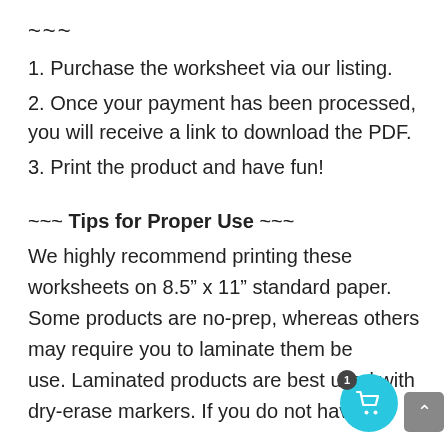~~~
1. Purchase the worksheet via our listing.
2. Once your payment has been processed, you will receive a link to download the PDF.
3. Print the product and have fun!
~~~ Tips for Proper Use ~~~
We highly recommend printing these worksheets on 8.5” x 11” standard paper. Some products are no-prep, whereas others may require you to laminate them before use. Laminated products are best used with dry-erase markers. If you do not have a